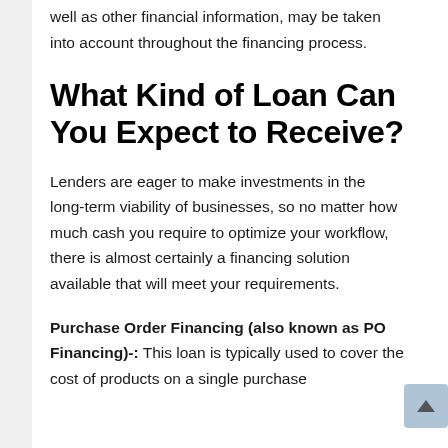well as other financial information, may be taken into account throughout the financing process.
What Kind of Loan Can You Expect to Receive?
Lenders are eager to make investments in the long-term viability of businesses, so no matter how much cash you require to optimize your workflow, there is almost certainly a financing solution available that will meet your requirements.
Purchase Order Financing (also known as PO Financing)-: This loan is typically used to cover the cost of products on a single purchase